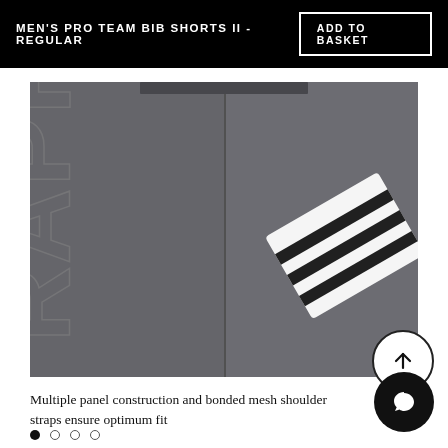MEN'S PRO TEAM BIB SHORTS II - REGULAR
ADD TO BASKET
[Figure (photo): Close-up product photo of cycling bib shorts in dark grey, showing embossed RAPHA branding text on the left panel and a white striped logo patch on the right side. Seam stitching visible along the top edge.]
Multiple panel construction and bonded mesh shoulder straps ensure optimum fit
Navigation dots (carousel indicators): one filled dot and three outline dots